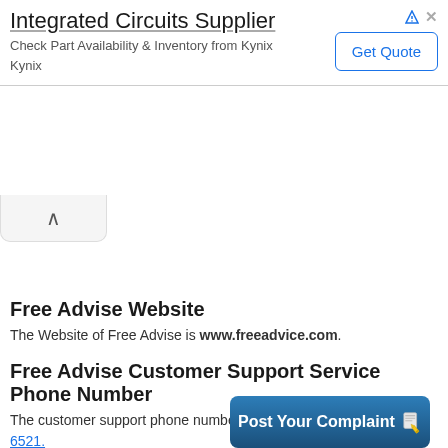[Figure (screenshot): Advertisement banner for Integrated Circuits Supplier (Kynix) with 'Get Quote' button and close/collapse controls]
[Figure (other): Collapse/chevron button below the ad banner]
Free Advise Website
The Website of Free Advise is www.freeadvice.com.
Free Advise Customer Support Service Phone Number
The customer support phone number of Free Advise is 415-339-6521.
(Click phone nu...
[Figure (other): Post Your Complaint button with pencil/clipboard icon]